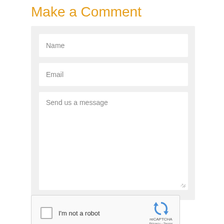Make a Comment
[Figure (screenshot): A web comment form with fields for Name, Email, a large message textarea, a reCAPTCHA 'I'm not a robot' checkbox, and a SEND COMMENT button.]